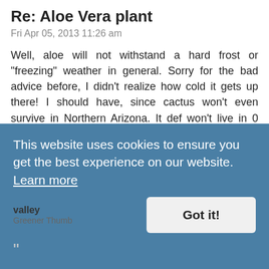Re: Aloe Vera plant
Fri Apr 05, 2013 11:26 am
Well, aloe will not withstand a hard frost or "freezing" weather in general. Sorry for the bad advice before, I didn't realize how cold it gets up there! I should have, since cactus won't even survive in Northern Arizona. It def won't live in 0 degree weather, I wouldn't leave it exposed to temps below like 25 for more than a week or it will not recover, particularly if there is snow and it has been watered any time in the past few weeks.
I don't know about the banana belt, lol. Phoenix is in the Sonoran desert, which is considered a very arid region. More like the dust belt!
valley
Greener Thumb
This website uses cookies to ensure you get the best experience on our website. Learn more
Got it!